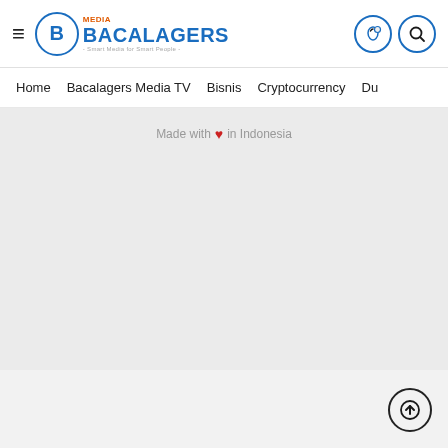Bacalagers Media - Smart Media for Smart People
Home | Bacalagers Media TV | Bisnis | Cryptocurrency | Du
Made with ❤ in Indonesia